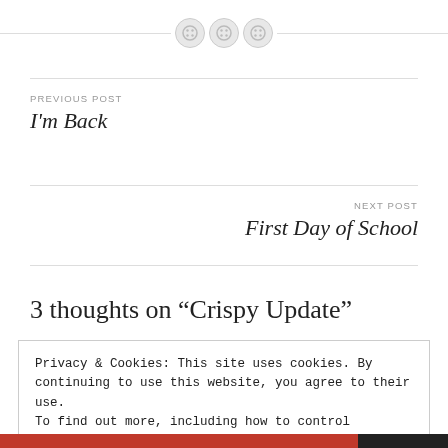[Figure (illustration): Decorative divider with three button/stitch icons on a horizontal dashed line]
PREVIOUS POST
I'm Back
NEXT POST
First Day of School
3 thoughts on “Crispy Update”
Privacy & Cookies: This site uses cookies. By continuing to use this website, you agree to their use.
To find out more, including how to control cookies, see here: Cookie Policy
Close and accept